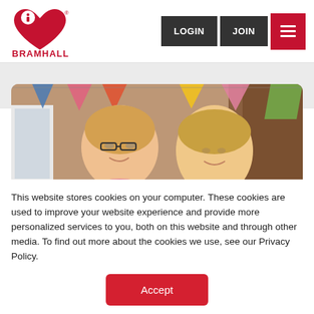[Figure (logo): Bramhall logo: red heart with letter i, and text BRAMHALL in red below]
[Figure (photo): Two smiling women in front of colorful bunting decorations indoors]
This website stores cookies on your computer. These cookies are used to improve your website experience and provide more personalized services to you, both on this website and through other media. To find out more about the cookies we use, see our Privacy Policy.
Accept